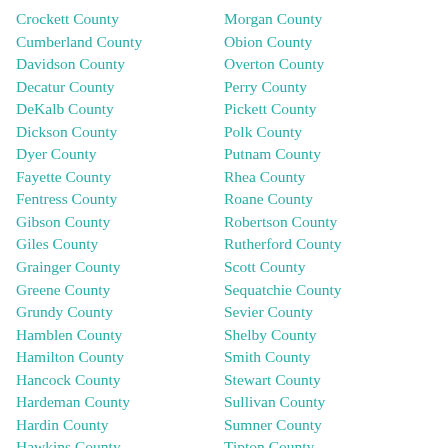Crockett County
Cumberland County
Davidson County
Decatur County
DeKalb County
Dickson County
Dyer County
Fayette County
Fentress County
Gibson County
Giles County
Grainger County
Greene County
Grundy County
Hamblen County
Hamilton County
Hancock County
Hardeman County
Hardin County
Hawkins County
Morgan County
Obion County
Overton County
Perry County
Pickett County
Polk County
Putnam County
Rhea County
Roane County
Robertson County
Rutherford County
Scott County
Sequatchie County
Sevier County
Shelby County
Smith County
Stewart County
Sullivan County
Sumner County
Tipton County